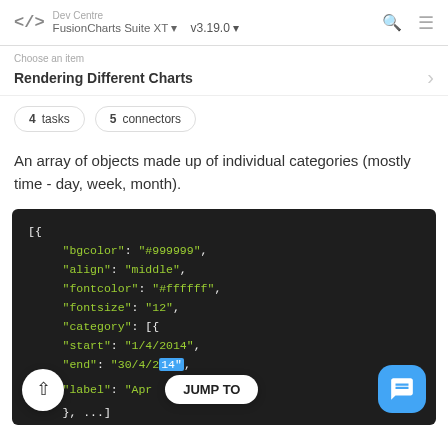</> Dev Centre FusionCharts Suite XT v3.19.0
Choose an item
Rendering Different Charts
4 tasks   5 connectors
An array of objects made up of individual categories (mostly time - day, week, month).
[Figure (screenshot): Dark-themed code block showing JSON array with bgcolor, align, fontcolor, fontsize, category, start, end, label properties and overlay buttons (up arrow, JUMP TO, chat)]